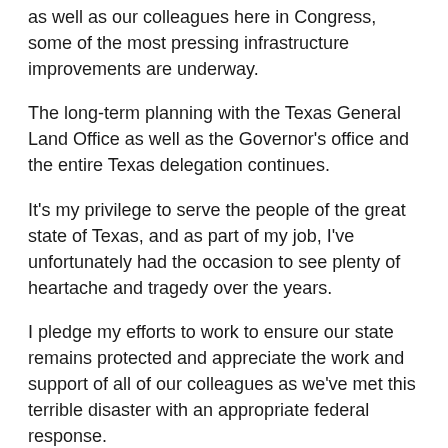as well as our colleagues here in Congress, some of the most pressing infrastructure improvements are underway.
The long-term planning with the Texas General Land Office as well as the Governor's office and the entire Texas delegation continues.
It's my privilege to serve the people of the great state of Texas, and as part of my job, I've unfortunately had the occasion to see plenty of heartache and tragedy over the years.
I pledge my efforts to work to ensure our state remains protected and appreciate the work and support of all of our colleagues as we've met this terrible disaster with an appropriate federal response.
Government
Hurricane Harvey | Gulf Coast